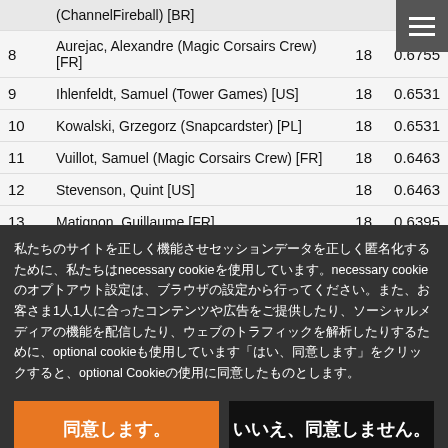| Rank | Name | Pts | Score |
| --- | --- | --- | --- |
|  | (ChannelFireball) [BR] |  |  |
| 8 | Aurejac, Alexandre (Magic Corsairs Crew) [FR] | 18 | 0.6755 |
| 9 | Ihlenfeldt, Samuel (Tower Games) [US] | 18 | 0.6531 |
| 10 | Kowalski, Grzegorz (Snapcardster) [PL] | 18 | 0.6531 |
| 11 | Vuillot, Samuel (Magic Corsairs Crew) [FR] | 18 | 0.6463 |
| 12 | Stevenson, Quint [US] | 18 | 0.6463 |
| 13 | Matignon, Guillaume [FR] | 18 | 0.6395 |
私たちのサイトを正しく機能させセッションデータを正しく匿名化するために、私たちはnecessary cookieを使用しています。necessary cookieのオプトアウト設定は、ブラウザの設定から行ってください。また、お客さま1人1人に合ったコンテンツや広告をご提供したり、ソーシャルメディアの機能を配信したり、ウェブのトラフィックを解析したりするために、optional cookieも使用しています「はい、同意します」をクリックすると、optional Cookieの使用に同意したものとします。
同意します。
いいえ、同意しません。
（Cookieについて詳しく）